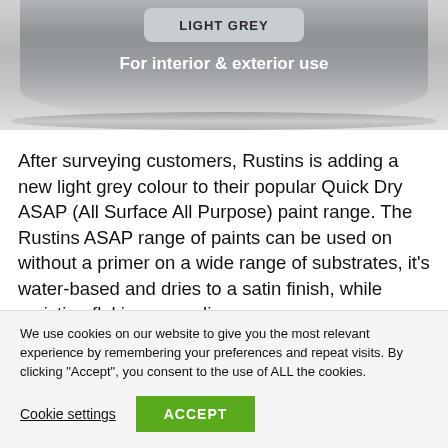[Figure (photo): Photo of a grey spray paint can (Rustins Quick Dry ASAP Light Grey), showing the top portion of the can with label badge reading 'LIGHT GREY' and text 'For interior & exterior use']
After surveying customers, Rustins is adding a new light grey colour to their popular Quick Dry ASAP (All Surface All Purpose) paint range. The Rustins ASAP range of paints can be used on without a primer on a wide range of substrates, it's water-based and dries to a satin finish, while resisting flaking or peeling
We use cookies on our website to give you the most relevant experience by remembering your preferences and repeat visits. By clicking "Accept", you consent to the use of ALL the cookies.
Cookie settings   ACCEPT